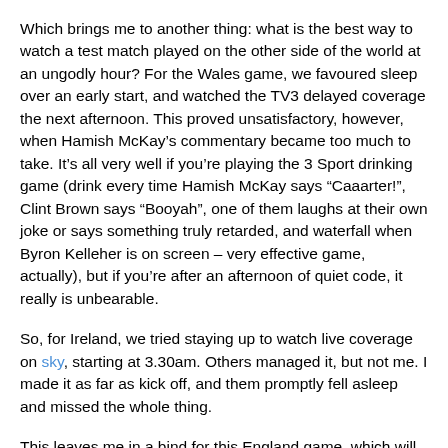Which brings me to another thing: what is the best way to watch a test match played on the other side of the world at an ungodly hour? For the Wales game, we favoured sleep over an early start, and watched the TV3 delayed coverage the next afternoon. This proved unsatisfactory, however, when Hamish McKay's commentary became too much to take. It's all very well if you're playing the 3 Sport drinking game (drink every time Hamish McKay says “Caaarter!", Clint Brown says “Booyah", one of them laughs at their own joke or says something truly retarded, and waterfall when Byron Kelleher is on screen – very effective game, actually), but if you're after an afternoon of quiet code, it really is unbearable.
So, for Ireland, we tried staying up to watch live coverage on sky, starting at 3.30am. Others managed it, but not me. I made it as far as kick off, and them promptly fell asleep and missed the whole thing.
This leaves me in a bind for this England game, which will probably be the best of the tour. I think this time I'll try going